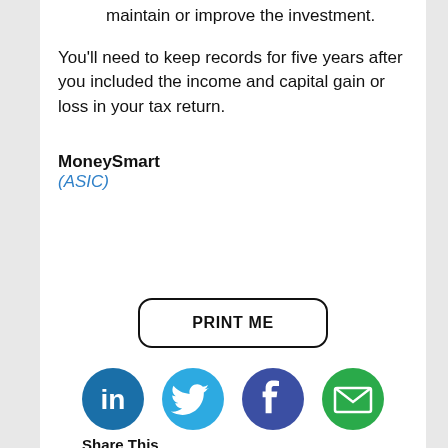maintain or improve the investment.
You'll need to keep records for five years after you included the income and capital gain or loss in your tax return.
MoneySmart
(ASIC)
PRINT ME
[Figure (infographic): Social sharing icons: LinkedIn (blue circle with 'in'), Twitter (light blue circle with bird), Facebook (dark blue circle with 'f'), Email (green circle with envelope). Below icons: 'Share This' label.]